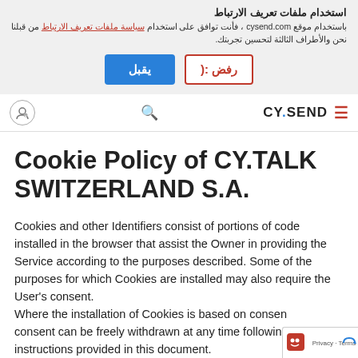استخدام ملفات تعريف الارتباط
باستخدام موقع cysend.com ، فأنت توافق على استخدام سياسة ملفات تعريف الارتباط من قبلنا نحن والأطراف الثالثة لتحسين تجربتك.
يقبل | رفض:(
[Figure (screenshot): CY.SEND website navigation bar with user icon, search icon, CY.SEND logo, and hamburger menu]
Cookie Policy of CY.TALK SWITZERLAND S.A.
Cookies and other Identifiers consist of portions of code installed in the browser that assist the Owner in providing the Service according to the purposes described. Some of the purposes for which Cookies are installed may also require the User's consent.
Where the installation of Cookies is based on consent, consent can be freely withdrawn at any time following the instructions provided in this document.